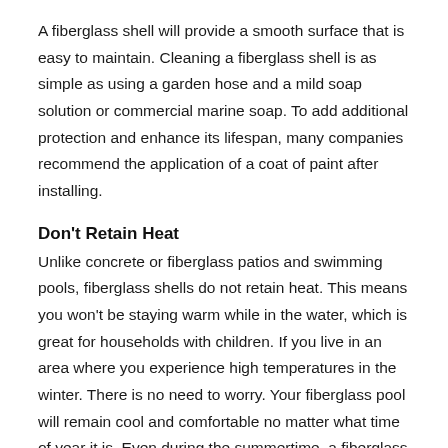A fiberglass shell will provide a smooth surface that is easy to maintain. Cleaning a fiberglass shell is as simple as using a garden hose and a mild soap solution or commercial marine soap. To add additional protection and enhance its lifespan, many companies recommend the application of a coat of paint after installing.
Don't Retain Heat
Unlike concrete or fiberglass patios and swimming pools, fiberglass shells do not retain heat. This means you won't be staying warm while in the water, which is great for households with children. If you live in an area where you experience high temperatures in the winter. There is no need to worry. Your fiberglass pool will remain cool and comfortable no matter what time of year it is. Even during the summertime, a fiberglass pool will remain cool to the